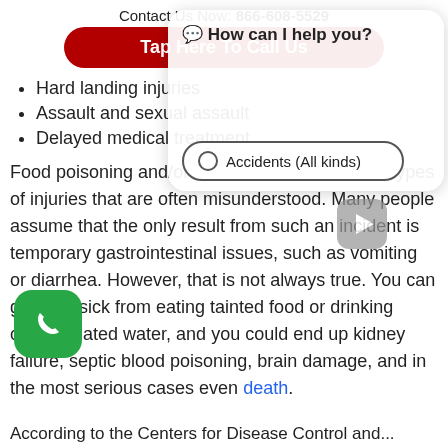Contact Us Now: 866-608-5529
Tap Here To Call Us
Hard landing injuries
Assault and sexual assault
Delayed medical treatment
Food poisoning and/or water contamination are types of injuries that are often misunderstood. Many people assume that the only result from such an incident is temporary gastrointestinal issues, such as vomiting or diarrhea. However, that is not always true. You can get very sick from eating tainted food or drinking contaminated water, and you could end up kidney failure, septic blood poisoning, brain damage, and in the most serious cases even death.
[Figure (infographic): Green phone call button (rounded square icon with white phone handset)]
[Figure (infographic): Video play button (grey rounded square with white play triangle)]
[Figure (infographic): Chat panel overlay with header 'How can I help you?' and an Accidents (All kinds) radio button option]
According to the Centers for Disease Control and...